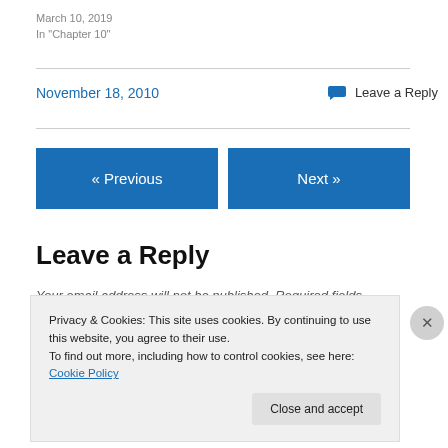March 10, 2019
In "Chapter 10"
November 18, 2010
Leave a Reply
« Previous
Next »
Leave a Reply
Your email address will not be published. Required fields
Privacy & Cookies: This site uses cookies. By continuing to use this website, you agree to their use.
To find out more, including how to control cookies, see here: Cookie Policy
Close and accept